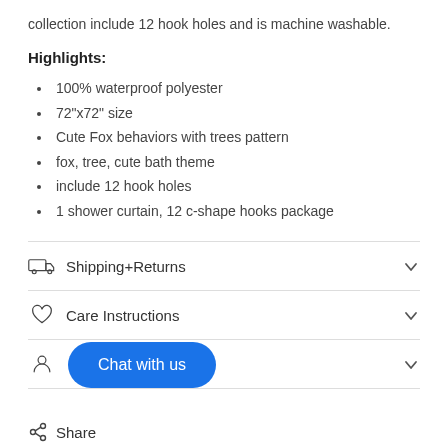collection include 12 hook holes and is machine washable.
Highlights:
100% waterproof polyester
72"x72" size
Cute Fox behaviors with trees pattern
fox, tree, cute bath theme
include 12 hook holes
1 shower curtain, 12 c-shape hooks package
Shipping+Returns
Care Instructions
Chat with us
Share